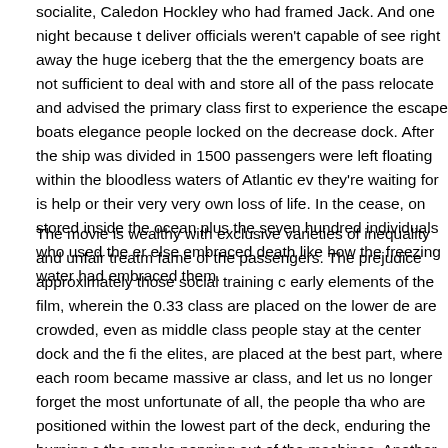socialite, Caledon Hockley who had framed Jack. And one night because the deliver officials weren't capable of see right away the huge iceberg that the the emergency boats are not sufficient to deal with and store all of the passe relocate and advised the primary class first to experience the escape boats elegance people locked on the decrease dock. After the ship was divided in 1500 passengers were left floating within the bloodless waters of Atlantic ev they're waiting for is help or their very very own loss of life. In the cease, on stored inside the ocean plus the seven hundred individuals who used the er else embraced death like how the freezing water had embraced them.
The movie is wealthy with exclusive varieties of inequality and unfair treatm fame of the passengers. The prejudice approximately those social training c early elements of the film, wherein the 0.33 class are placed on the lower de are crowded, even as middle class people stay at the center dock and the fi the elites, are placed at the best part, where each room became massive ar class, and let us no longer forget the most unfortunate of all, the people tha who are positioned within the lowest part of the deck, enduring the burning c the smoke popping out of the machines. Another sense of prejudice has bee mom instructed her to stay far from Jack, because he is disgusting and poo a wealthy man to be Rose's husband, in here we can see that other than de "marriage for comfort" became rampant. The sacrament is being used for pe